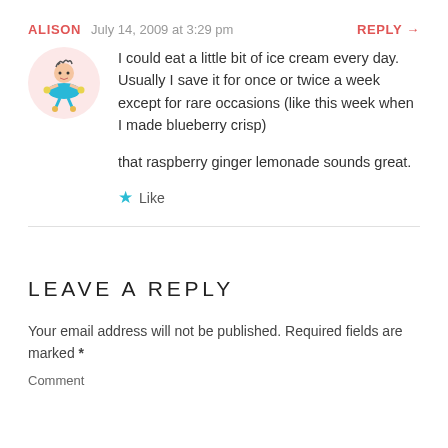ALISON   July 14, 2009 at 3:29 pm   REPLY →
I could eat a little bit of ice cream every day. Usually I save it for once or twice a week except for rare occasions (like this week when I made blueberry crisp)

that raspberry ginger lemonade sounds great.
★ Like
LEAVE A REPLY
Your email address will not be published. Required fields are marked *
Comment